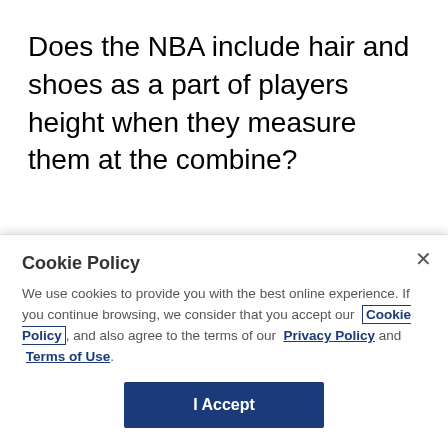Does the NBA include hair and shoes as a part of players height when they measure them at the combine?
Sam:
That was my concern also about White. Turns
Cookie Policy
We use cookies to provide you with the best online experience. If you continue browsing, we consider that you accept our Cookie Policy, and also agree to the terms of our Privacy Policy and Terms of Use.
I Accept